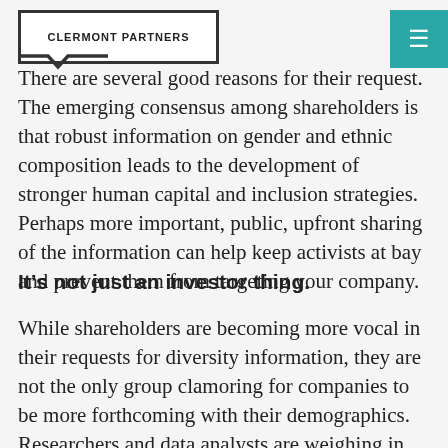CLERMONT PARTNERS
There are several good reasons for their request. The emerging consensus among shareholders is that robust information on gender and ethnic composition leads to the development of stronger human capital and inclusion strategies. Perhaps more important, public, upfront sharing of the information can help keep activists at bay and prevent them from targeting your company.
It’s not just an investor thing.
While shareholders are becoming more vocal in their requests for diversity information, they are not the only group clamoring for companies to be more forthcoming with their demographics. Researchers and data analysts are weighing in, too. In their article titled The ESG Data Challenge, Jennifer Bender and